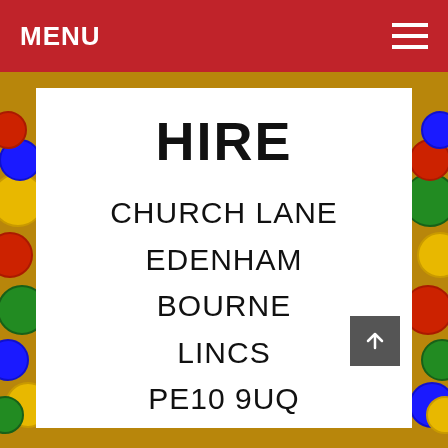MENU
HIRE
CHURCH LANE
EDENHAM
BOURNE
LINCS
PE10 9UQ
TEL:  01778 591197